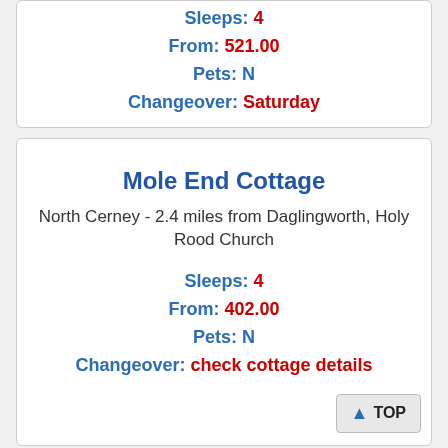Sleeps: 4
From: 521.00
Pets: N
Changeover: Saturday
Mole End Cottage
North Cerney - 2.4 miles from Daglingworth, Holy Rood Church
Sleeps: 4
From: 402.00
Pets: N
Changeover: check cottage details